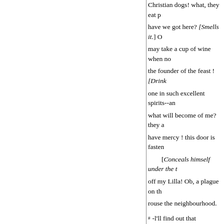Christian dogs! what, they eat p... have we got here? [Smells it.] O... may take a cup of wine when no... the founder of the feast ! [Drink... one in such excellent spirits--an... what will become of me? they a... have mercy ! this door is fasten...
[Conceals himself under the t... off my Lilla! Ob, a plague on th... rouse the neighbourhood.
# -l'll find out that scoundrel, Y... brought you here?
Enter Peter, L., who goes up i... defend your house ; and, beside...
Leo. And which way did you ge...
Yus. I came through the garde... do, and agreeable to my functio...
Pet. And you have been eating s...
Leo. Ay-who asked you to...
Yus. I only eat a little bit...